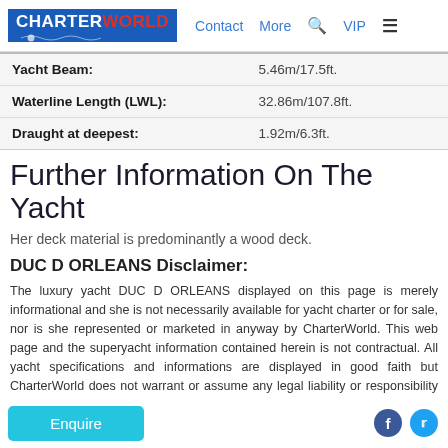CHARTERWORLD | Contact | More | VIP
| Field | Value |
| --- | --- |
| Yacht Beam: | 5.46m/17.5ft. |
| Waterline Length (LWL): | 32.86m/107.8ft. |
| Draught at deepest: | 1.92m/6.3ft. |
Further Information On The Yacht
Her deck material is predominantly a wood deck.
DUC D ORLEANS Disclaimer:
The luxury yacht DUC D ORLEANS displayed on this page is merely informational and she is not necessarily available for yacht charter or for sale, nor is she represented or marketed in anyway by CharterWorld. This web page and the superyacht information contained herein is not contractual. All yacht specifications and informations are displayed in good faith but CharterWorld does not warrant or assume any legal liability or responsibility for the current accuracy, validity, or usefulness of any superyacht information displayed. All boat information is subject to change w